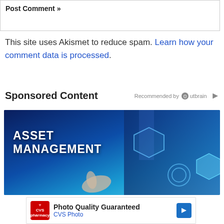Post Comment »
This site uses Akismet to reduce spam. Learn how your comment data is processed.
Sponsored Content
Recommended by Outbrain
[Figure (photo): Asset Management promotional image showing a person in a suit pointing at a glowing hexagonal interface with text ASSET MANAGEMENT, blue digital technology background]
[Figure (photo): CVS Pharmacy advertisement banner: Photo Quality Guaranteed, CVS Photo]